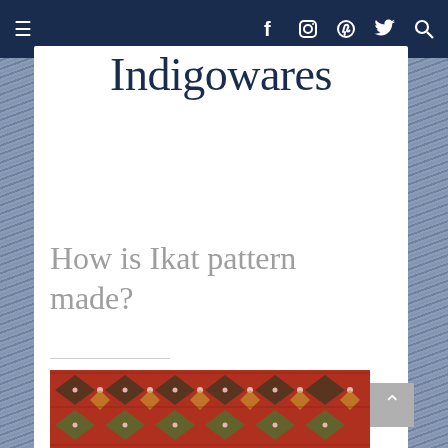≡  f  [instagram]  [pinterest]  [twitter]  [search]
Indigowares
How is Ikat pattern made?
[Figure (photo): Close-up photograph of colorful Ikat textile pattern with red, green, yellow, and white geometric designs]